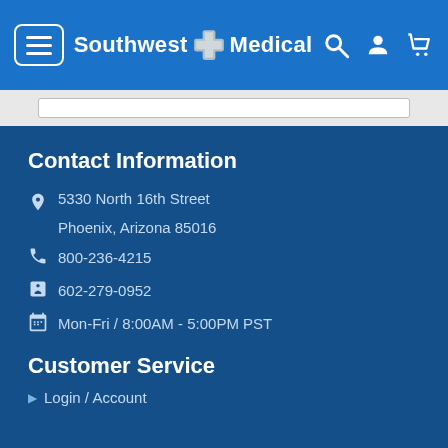Southwest Medical
Contact Information
5330 North 16th Street
Phoenix, Arizona 85016
800-236-4215
602-279-0952
Mon-Fri / 8:00AM - 5:00PM PST
Customer Service
Login / Account